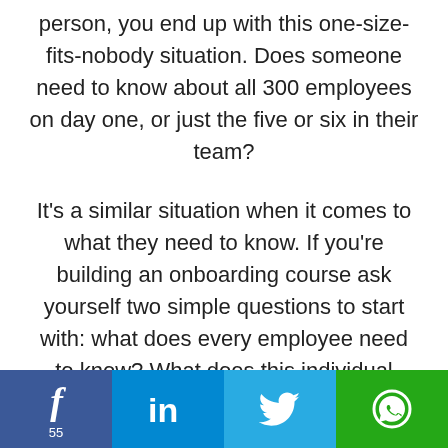person, you end up with this one-size-fits-nobody situation. Does someone need to know about all 300 employees on day one, or just the five or six in their team?
It's a similar situation when it comes to what they need to know. If you're building an onboarding course ask yourself two simple questions to start with: what does every employee need to know? What does this individual need to know?
[Figure (infographic): Social sharing bar with four buttons: Facebook (dark blue, 'f' icon, count 55), LinkedIn (medium blue, 'in' icon), Twitter (light blue, bird icon), WhatsApp (green, phone/chat icon)]